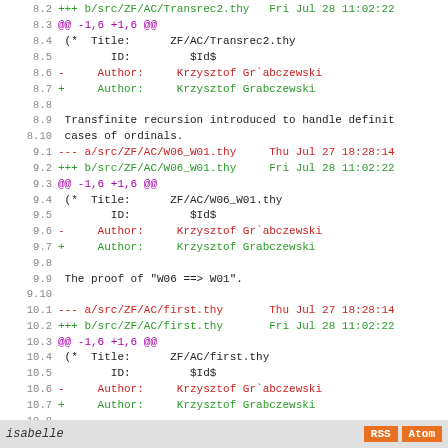Diff code view showing git diff output for ZF/AC/Transrec2.thy, ZF/AC/W06_W01.thy, and ZF/AC/first.thy with author name corrections
isabelle   RSS   Atom